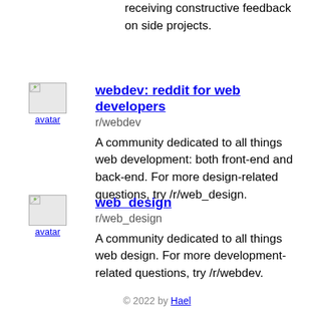receiving constructive feedback on side projects.
webdev: reddit for web developers
r/webdev
A community dedicated to all things web development: both front-end and back-end. For more design-related questions, try /r/web_design.
web_design
r/web_design
A community dedicated to all things web design. For more development-related questions, try /r/webdev.
© 2022 by Hael